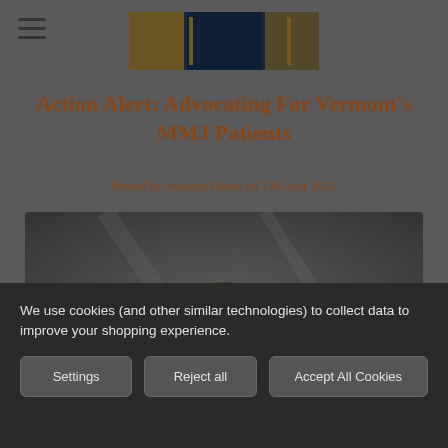[Figure (logo): Website header/logo image with blue and dark tones]
Action Alert: Advocating For Vermont's MMJ Patients
Posted by Jessilyn Dolan on 13th Apr 2021
[Figure (photo): Cannabis bud photograph with blurred background, dark overlay]
We use cookies (and other similar technologies) to collect data to improve your shopping experience.
Settings | Reject all | Accept All Cookies